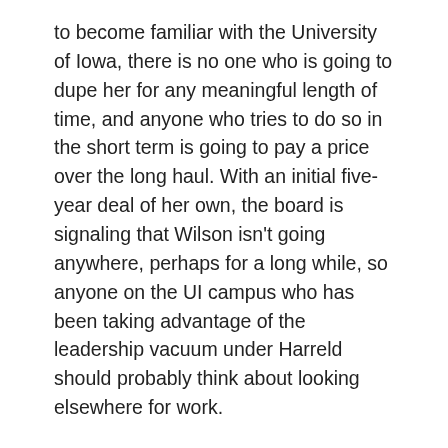to become familiar with the University of Iowa, there is no one who is going to dupe her for any meaningful length of time, and anyone who tries to do so in the short term is going to pay a price over the long haul. With an initial five-year deal of her own, the board is signaling that Wilson isn't going anywhere, perhaps for a long while, so anyone on the UI campus who has been taking advantage of the leadership vacuum under Harreld should probably think about looking elsewhere for work.
The fact that Wilson is a life-long educator and has been an academic administrator for decades not only means she knows the higher-ed profession inside and out, she almost certainly knows a generation of high-level administrators across the country. Her presence in the president's